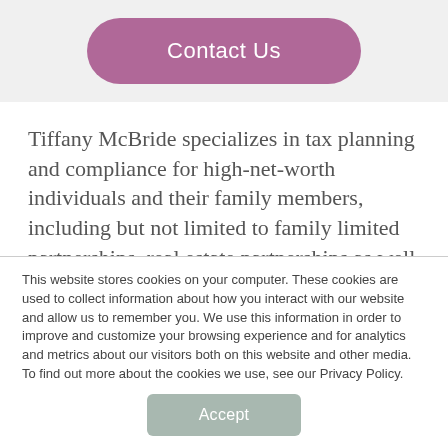[Figure (other): Purple rounded button labeled 'Contact Us']
Tiffany McBride specializes in tax planning and compliance for high-net-worth individuals and their family members, including but not limited to family limited partnerships, real estate partnerships as well as other closely held
This website stores cookies on your computer. These cookies are used to collect information about how you interact with our website and allow us to remember you. We use this information in order to improve and customize your browsing experience and for analytics and metrics about our visitors both on this website and other media. To find out more about the cookies we use, see our Privacy Policy.
[Figure (other): Gray rounded button labeled 'Accept']